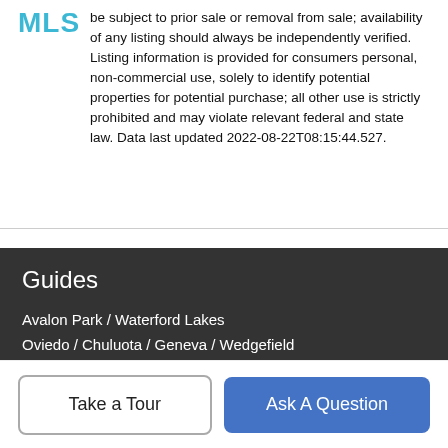be subject to prior sale or removal from sale; availability of any listing should always be independently verified. Listing information is provided for consumers personal, non-commercial use, solely to identify potential properties for potential purchase; all other use is strictly prohibited and may violate relevant federal and state law. Data last updated 2022-08-22T08:15:44.527.
Guides
Avalon Park / Waterford Lakes
Oviedo / Chuluota / Geneva / Wedgefield
Baldwin Park / College Park
Windermere / Bay Hill / Dr. Phillips / Gotha
Celebration / Harmony / Kissimmee / St. Cloud
More Guides >